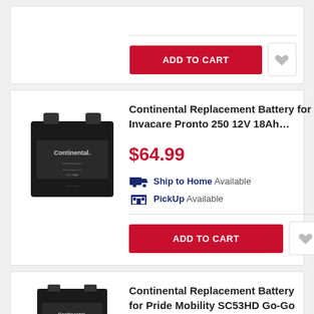[Figure (screenshot): Partial e-commerce product card showing ADD TO CART button with heart/wishlist icon at top of page]
[Figure (photo): Black Continental replacement battery product image]
Continental Replacement Battery for Invacare Pronto 250 12V 18Ah…
$64.99
Ship to Home Available
PickUp Available
ADD TO CART
[Figure (photo): Partial black Continental replacement battery product image for second card]
Continental Replacement Battery for Pride Mobility SC53HD Go-Go …